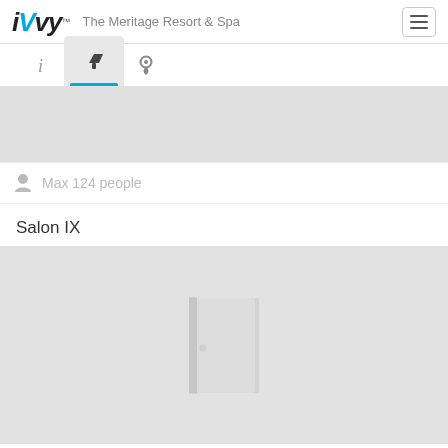iVvy™  The Meritage Resort & Spa
[Figure (screenshot): Navigation tab bar with info, filter, and location icons; filter icon is active with blue underline]
[Figure (photo): Gray placeholder image area at top of content]
Max 124 people
Salon IX
[Figure (illustration): Gray placeholder area with door/room icon indicating no image available for Salon IX]